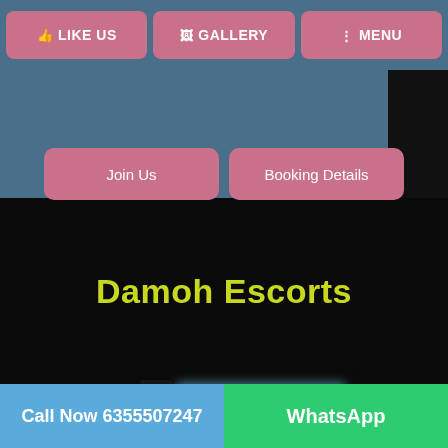👍 LIKE US   🖼 GALLERY   ⋮ MENU
Join Us
Booking Details
Damoh Escorts
[Figure (photo): Blurred/censored image with obscured text]
Call Now 6355507247   WhatsApp